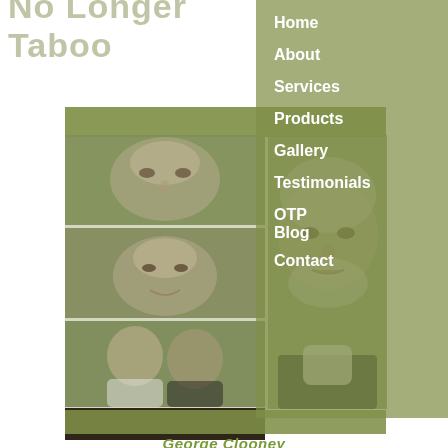No Longer Taboo
Home
About
Services
Products
Gallery
Testimonials
OTP
Blog
Contact
[Figure (photo): Thumbnail photo 1 - man's face close-up (George Clooney younger)]
[Figure (photo): Thumbnail photo 2 - man smiling (George Clooney)]
[Figure (photo): Thumbnail photo 3 - couple (man and woman)]
[Figure (photo): Thumbnail photo 4 - couple at event (Amal and George Clooney)]
[Figure (photo): Large main photo - George Clooney close-up with beard, grey hair]
George Clooney